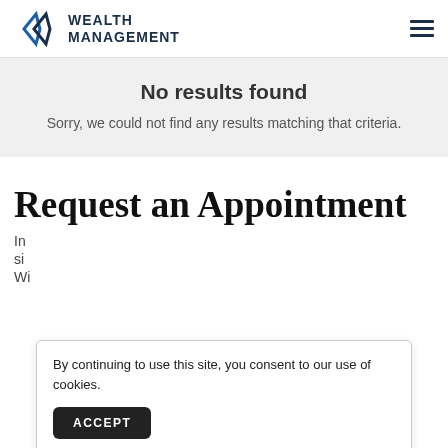Wealth Management
No results found
Sorry, we could not find any results matching that criteria.
Request an Appointment
In
si
Wi
By continuing to use this site, you consent to our use of cookies.
ACCEPT